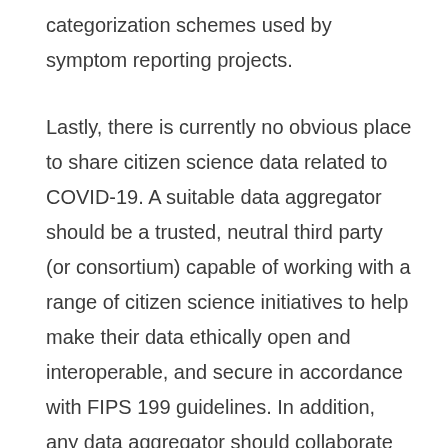categorization schemes used by symptom reporting projects.
Lastly, there is currently no obvious place to share citizen science data related to COVID-19. A suitable data aggregator should be a trusted, neutral third party (or consortium) capable of working with a range of citizen science initiatives to help make their data ethically open and interoperable, and secure in accordance with FIPS 199 guidelines. In addition, any data aggregator should collaborate with relevant public health officials both document the fitness of citizen science data for different use cases and engage relevant parties in putting the data to use.